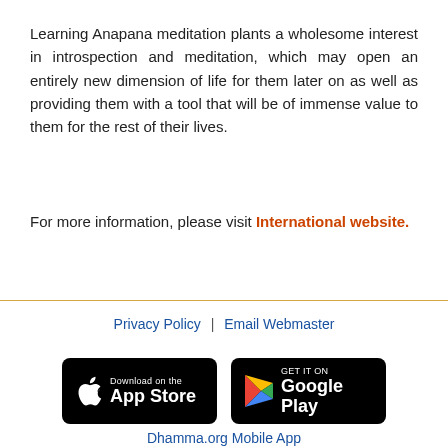Learning Anapana meditation plants a wholesome interest in introspection and meditation, which may open an entirely new dimension of life for them later on as well as providing them with a tool that will be of immense value to them for the rest of their lives.
For more information, please visit International website.
Privacy Policy | Email Webmaster
[Figure (logo): Download on the App Store button (black rounded rectangle with Apple logo)]
[Figure (logo): Get it on Google Play button (black rounded rectangle with colorful Play triangle logo)]
Dhamma.org Mobile App